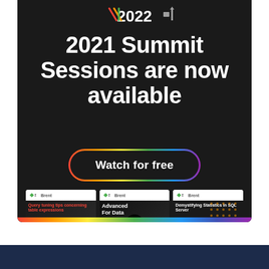[Figure (infographic): Summit 2022 promotional banner on dark background showing '2021 Summit Sessions are now available' headline, a 'Watch for free' button with rainbow gradient border, and three video thumbnails at the bottom including 'Query tuning tips concerning table expressions', 'Advanced For Data' with play button, and 'Demystifying Statistics in SQL Server'. A rainbow arc decorates the bottom of the banner. A dark navy bar is at the very bottom of the page.]